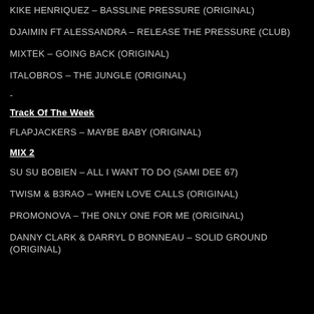KIKE HENRIQUEZ – BASSLINE PRESSURE (ORIGINAL)
DJAIMIN FT ALESSANDRA – RELEASE THE PRESSURE (CLUB)
MIXTEK – GOING BACK (ORIGINAL)
ITALOBROS – THE JUNGLE (ORIGINAL)
-
Track Of The Week
FLAPJACKERS – MAYBE BABY (ORIGINAL)
MIX 2
SU SU BOBIEN – ALL I WANT TO DO (SAMI DEE 67)
TWISM & B3RAO – WHEN LOVE CALLS (ORIGINAL)
PROMONOVA – THE ONLY ONE FOR ME (ORIGINAL)
DANNY CLARK & DARRYL D BONNEAU – SOLID GROUND (ORIGINAL)